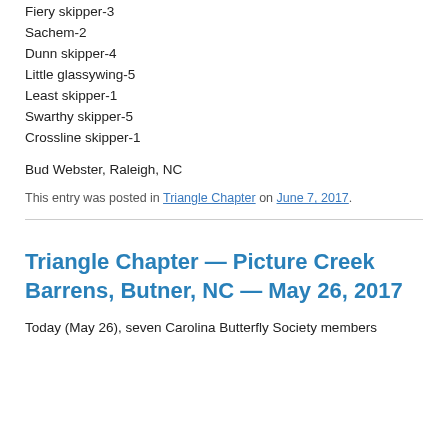Fiery skipper-3
Sachem-2
Dunn skipper-4
Little glassywing-5
Least skipper-1
Swarthy skipper-5
Crossline skipper-1
Bud Webster, Raleigh, NC
This entry was posted in Triangle Chapter on June 7, 2017.
Triangle Chapter — Picture Creek Barrens, Butner, NC — May 26, 2017
Today (May 26), seven Carolina Butterfly Society members